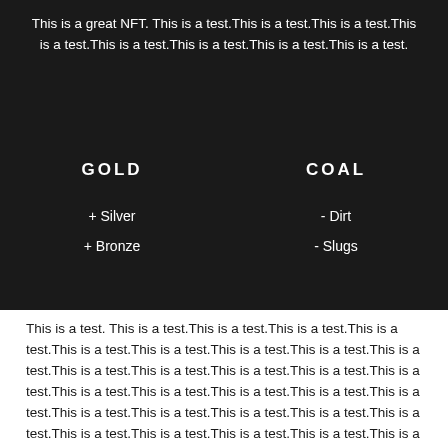This is a great NFT. This is a test.This is a test.This is a test.This is a test.This is a test.This is a test.This is a test.This is a test.
GOLD
COAL
+ Silver
- Dirt
+ Bronze
- Slugs
This is a test. This is a test.This is a test.This is a test.This is a test.This is a test.This is a test.This is a test.This is a test.This is a test.This is a test.This is a test.This is a test.This is a test.This is a test.This is a test.This is a test.This is a test.This is a test.This is a test.This is a test.This is a test.This is a test.This is a test.This is a test.This is a test.This is a test.This is a test.This is a test.This is a test.This is a test.This is a test.This is a test.This is a